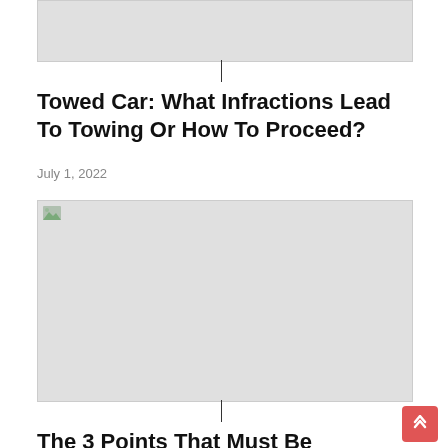[Figure (photo): Top image placeholder (gray rectangle, image failed to load)]
Towed Car: What Infractions Lead To Towing Or How To Proceed?
July 1, 2022
[Figure (photo): Main article image placeholder (large gray rectangle, image failed to load)]
The 3 Points That Must Be Observed When